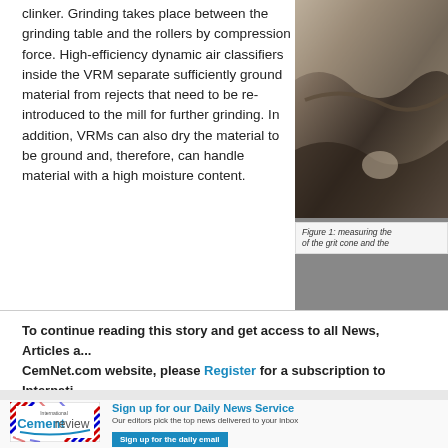clinker. Grinding takes place between the grinding table and the rollers by compression force. High-efficiency dynamic air classifiers inside the VRM separate sufficiently ground material from rejects that need to be re-introduced to the mill for further grinding. In addition, VRMs can also dry the material to be ground and, therefore, can handle material with a high moisture content.
[Figure (photo): Photograph showing interior of a grinding mill or quarry area with rocky surfaces]
Figure 1: measuring the of the grit cone and the
To continue reading this story and get access to all News, Articles and CemNet.com website, please Register for a subscription to Internati... Login
[Figure (logo): International Cement Review logo inside a decorative envelope border with red and blue diagonal stripes]
Sign up for our Daily News Service
Our editors pick the top news delivered to your inbox
Sign up for the daily email